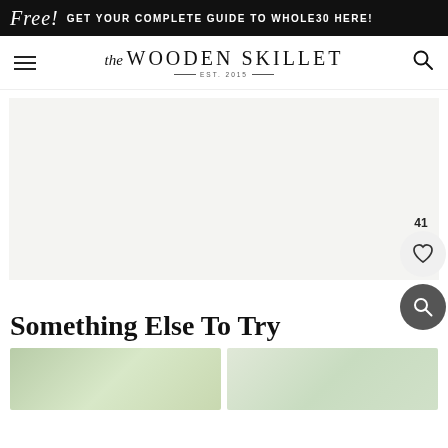Free! Get your Complete Guide to Whole30 HERE!
The Wooden Skillet EST. 2015
[Figure (photo): Main recipe photo area - light colored food photo placeholder]
41
Something Else To Try
[Figure (photo): Two food thumbnail images at the bottom of the page]